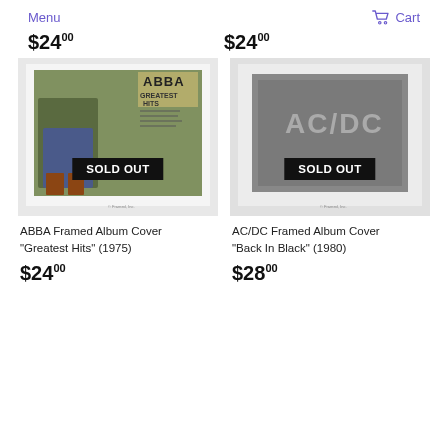Menu   Cart
$2400
$2400
[Figure (photo): ABBA Greatest Hits album cover framed, with SOLD OUT banner overlay]
[Figure (photo): AC/DC Back In Black album cover framed, with SOLD OUT banner overlay]
ABBA Framed Album Cover "Greatest Hits" (1975)
AC/DC Framed Album Cover "Back In Black" (1980)
$2400
$2800